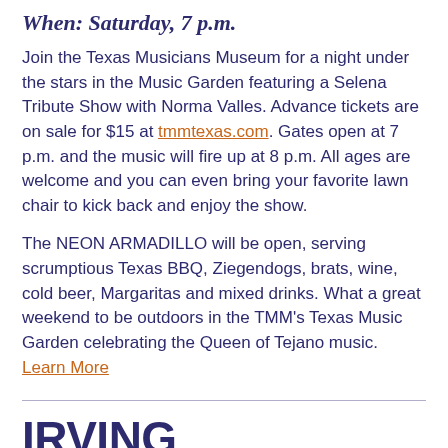When: Saturday, 7 p.m.
Join the Texas Musicians Museum for a night under the stars in the Music Garden featuring a Selena Tribute Show with Norma Valles. Advance tickets are on sale for $15 at tmmtexas.com. Gates open at 7 p.m. and the music will fire up at 8 p.m. All ages are welcome and you can even bring your favorite lawn chair to kick back and enjoy the show.
The NEON ARMADILLO will be open, serving scrumptious Texas BBQ, Ziegendogs, brats, wine, cold beer, Margaritas and mixed drinks. What a great weekend to be outdoors in the TMM's Texas Music Garden celebrating the Queen of Tejano music. Learn More
IRVING SYMPHONY ALL TCHAIKOVSKY FEST